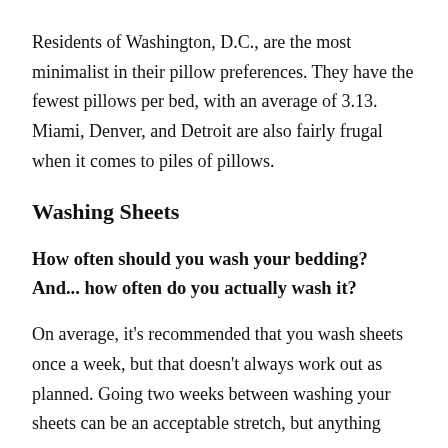Residents of Washington, D.C., are the most minimalist in their pillow preferences. They have the fewest pillows per bed, with an average of 3.13. Miami, Denver, and Detroit are also fairly frugal when it comes to piles of pillows.
Washing Sheets
How often should you wash your bedding? And... how often do you actually wash it?
On average, it's recommended that you wash sheets once a week, but that doesn't always work out as planned. Going two weeks between washing your sheets can be an acceptable stretch, but anything